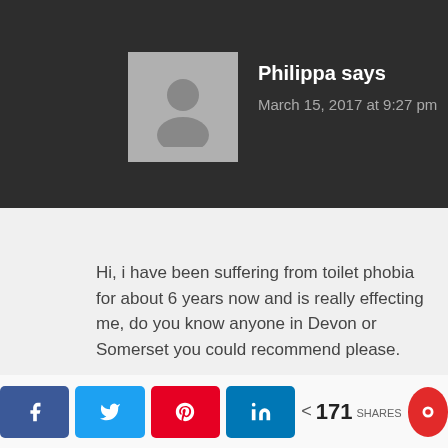Philippa says
March 15, 2017 at 9:27 pm
Hi, i have been suffering from toilet phobia for about 6 years now and is really effecting me, do you know anyone in Devon or Somerset you could recommend please.
Reply
171 SHARES